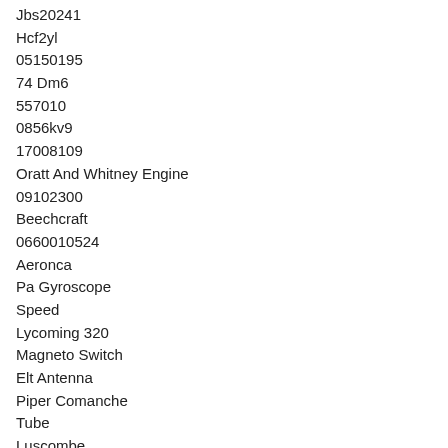Jbs20241
Hcf2yl
05150195
74 Dm6
557010
0856kv9
17008109
Oratt And Whitney Engine
09102300
Beechcraft
0660010524
Aeronca
Pa Gyroscope
Speed
Lycoming 320
Magneto Switch
Elt Antenna
Piper Comanche
Tube
Luscombe
Barfield
Comm
Rotating